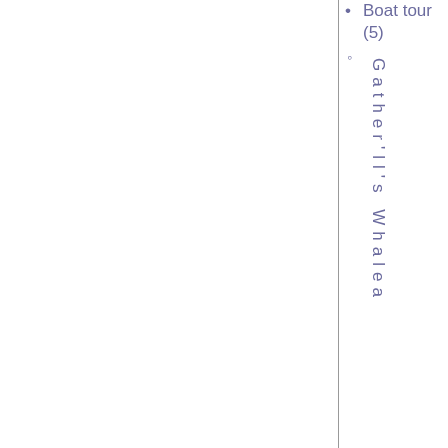Boat tour (5)
Gather'll's Whaleа